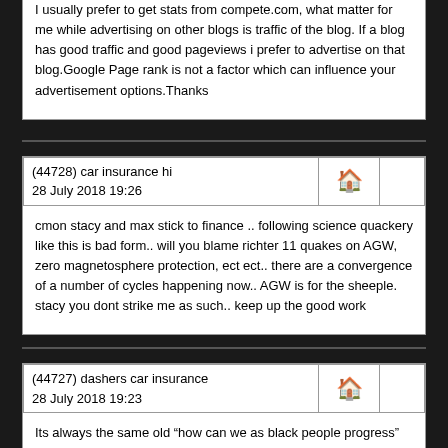I usually prefer to get stats from compete.com, what matter for me while advertising on other blogs is traffic of the blog. If a blog has good traffic and good pageviews i prefer to advertise on that blog.Google Page rank is not a factor which can influence your advertisement options.Thanks
(44728) car insurance hi
28 July 2018 19:26
cmon stacy and max stick to finance .. following science quackery like this is bad form.. will you blame richter 11 quakes on AGW, zero magnetosphere protection, ect ect.. there are a convergence of a number of cycles happening now.. AGW is for the sheeple. stacy you dont strike me as such.. keep up the good work
(44727) dashers car insurance
28 July 2018 19:23
Its always the same old &#8220;how can we as black people progress&#8221; and &#8220;what can black people do to progress&#8221;. Why do I never hear about this from white folks? Cause honestly, I could probably use a little bit of progressing myself, but I dont lump myself into a huge category of white people when I think about what I have to do as an individual to better myself.